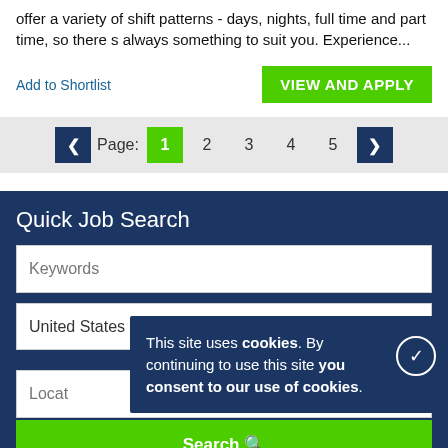offer a variety of shift patterns - days, nights, full time and part time, so there s always something to suit you. Experience...
Add to Shortlist
VIEW AND APPLY
Page: 1 2 3 4 5
Quick Job Search
Keywords
United States
Locat
Search
This site uses cookies. By continuing to use this site you consent to our use of cookies.